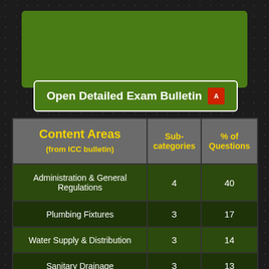[Figure (other): Green banner rectangle at top of page]
Open Detailed Exam Bulletin
| Content Areas (from ICC bulletin) | Sub-categories | % of Questions |
| --- | --- | --- |
| Administration & General Regulations | 4 | 40 |
| Plumbing Fixtures | 3 | 17 |
| Water Supply & Distribution | 3 | 14 |
| Sanitary Drainage | 3 | 13 |